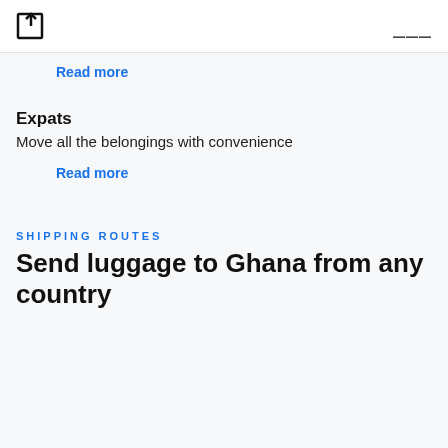[logo icon] [hamburger menu]
Read more
Expats
Move all the belongings with convenience
Read more
SHIPPING ROUTES
Send luggage to Ghana from any country